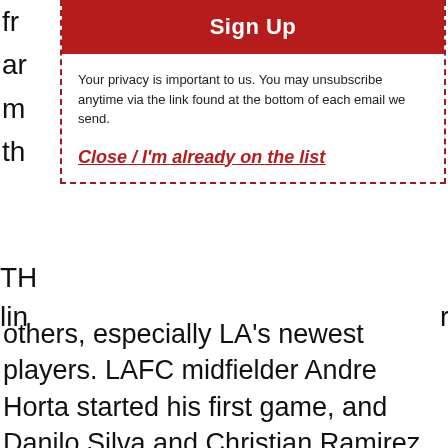fr
ar
m
th
Sign Up
Your privacy is important to us. You may unsubscribe anytime via the link found at the bottom of each email we send.
Close / I'm already on the list
others, especially LA's newest players. LAFC midfielder Andre Horta started his first game, and Danilo Silva and Christian Ramirez made their LAFC debuts, while LAFC goalkeeper Luis Lopez got the nod over Tyler Miller for his first start.
ADVERTISEMENT
[Figure (photo): Smiling man in a collared shirt, advertisement photo]